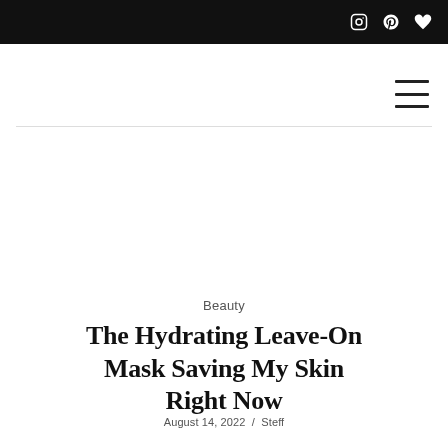Instagram / Pinterest / Heart icons
Beauty
The Hydrating Leave-On Mask Saving My Skin Right Now
August 14, 2022 / Steff